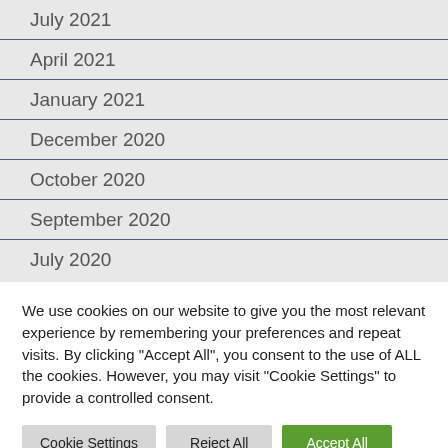July 2021
April 2021
January 2021
December 2020
October 2020
September 2020
July 2020
We use cookies on our website to give you the most relevant experience by remembering your preferences and repeat visits. By clicking "Accept All", you consent to the use of ALL the cookies. However, you may visit "Cookie Settings" to provide a controlled consent.